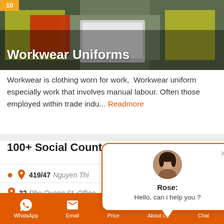[Figure (photo): Hero image of workers in high-visibility vests with laptop, overlaid with title 'Workwear Uniforms' and badge '10']
Workwear Uniforms
Workwear is clothing worn for work, Workwear uniform especially work that involves manual labour. Often those employed within trade indu... Readmore
100+ Social Counte
419/47 Nguyen Thi ...
32 Pho Quang St. Office
369/9A Nguyen Thai Binh
[Figure (screenshot): Chat popup with profile picture of Rose, message: 'Rose: Hello, can i help you ?']
WhatsApp | Email | Price | About Us | Chat